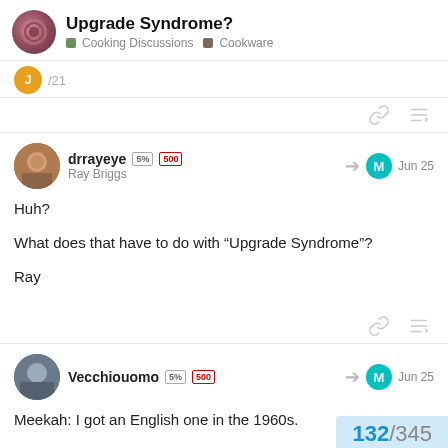Upgrade Syndrome? | Cooking Discussions | Cookware
/21
drrayeye  Ray Briggs  Jun 25
Huh?
What does that have to do with “Upgrade Syndrome”?
Ray
Vecchiouomo  Jun 25
Meekah: I got an English one in the 1960s.
132 / 345